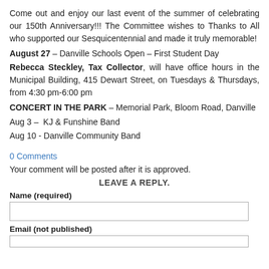Come out and enjoy our last event of the summer of celebrating our 150th Anniversary!!! The Committee wishes to Thanks to All who supported our Sesquicentennial and made it truly memorable!
August 27 – Danville Schools Open – First Student Day
Rebecca Steckley, Tax Collector, will have office hours in the Municipal Building, 415 Dewart Street, on Tuesdays & Thursdays, from 4:30 pm-6:00 pm
CONCERT IN THE PARK – Memorial Park, Bloom Road, Danville
Aug 3 –  KJ & Funshine Band
Aug 10 - Danville Community Band
0 Comments
Your comment will be posted after it is approved.
LEAVE A REPLY.
Name (required)
Email (not published)